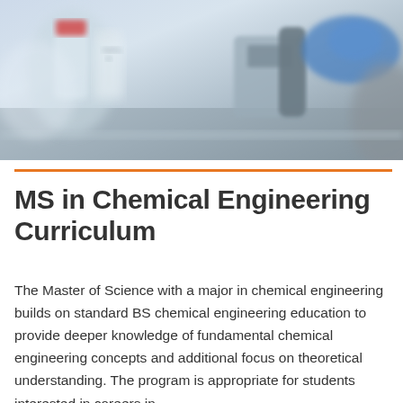[Figure (photo): Laboratory photo showing blue-gloved hand operating scientific equipment, with chemical bottles (labeled H2SO4) in background, blurred lab setting]
MS in Chemical Engineering Curriculum
The Master of Science with a major in chemical engineering builds on standard BS chemical engineering education to provide deeper knowledge of fundamental chemical engineering concepts and additional focus on theoretical understanding. The program is appropriate for students interested in careers in